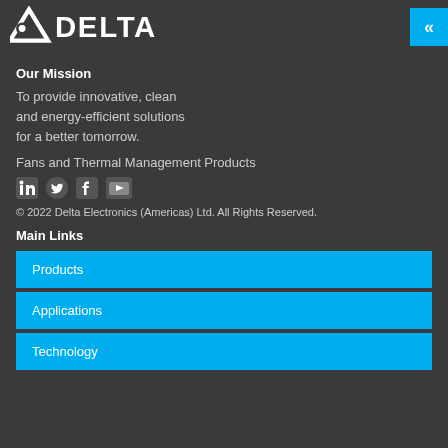[Figure (logo): Delta Electronics logo in white on dark background]
Our Mission
To provide innovative, clean and energy-efficient solutions for a better tomorrow.
Fans and Thermal Management Products
[Figure (illustration): Social media icons: LinkedIn, Twitter, Facebook, YouTube]
© 2022 Delta Electronics (Americas) Ltd. All Rights Reserved.
Main Links
Products
Applications
Technology